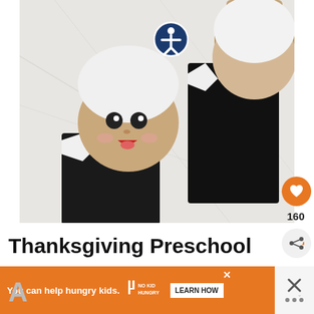[Figure (photo): Two paper bag pilgrim craft puppets made from black and white construction paper with a cartoon face, lying on a white marble surface. A blue accessibility icon button is overlaid on the image.]
Thanksgiving Preschool
[Figure (infographic): Orange advertisement banner reading 'You can help hungry kids.' with No Kid Hungry logo and a 'LEARN HOW' button. A close X button is on the right side.]